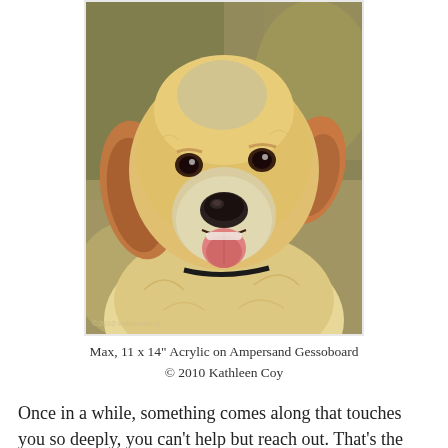[Figure (illustration): Acrylic painting portrait of a Golden Retriever dog named Max, showing the dog's face and upper body. The dog has golden/amber fur with some grey around the muzzle indicating age, dark expressive eyes, floppy ears, a black nose, and an open mouth with tongue visible. The background is a soft olive-brown/earthy tone. A copyright watermark '©2010 kathleencoy' appears in the lower left corner.]
Max, 11 x 14" Acrylic on Ampersand Gessoboard
© 2010 Kathleen Coy
Once in a while, something comes along that touches you so deeply, you can't help but reach out. That's the story behind